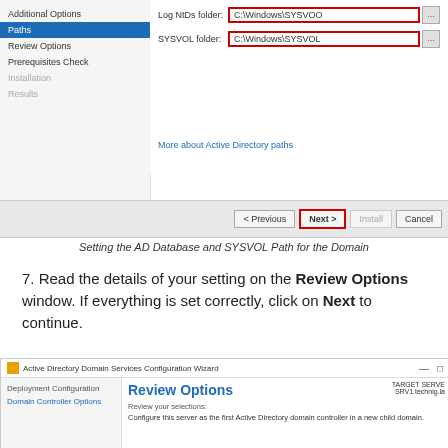[Figure (screenshot): Active Directory Domain Services Configuration Wizard showing Paths step with SYSVOL folder set to C:\Windows\SYSVOL, highlighted with red border. Left nav shows Additional Options, Paths (selected/highlighted blue), Review Options, Prerequisites Check, Installation, Results. Navigation buttons < Previous, Next > (highlighted red), Install, Cancel at bottom.]
Setting the AD Database and SYSVOL Path for the Domain
7. Read the details of your setting on the Review Options window. If everything is set correctly, click on Next to continue.
[Figure (screenshot): Active Directory Domain Services Configuration Wizard showing Review Options step. Title bar shows wizard name with minimize and restore buttons. Left nav shows Deployment Configuration and Domain Controller Options highlighted in blue. Right panel shows 'Review your selections:' with text 'Configure this server as the first Active Directory domain controller in a new child domain.' Target server shown as SRV1.technig.la in top right.]